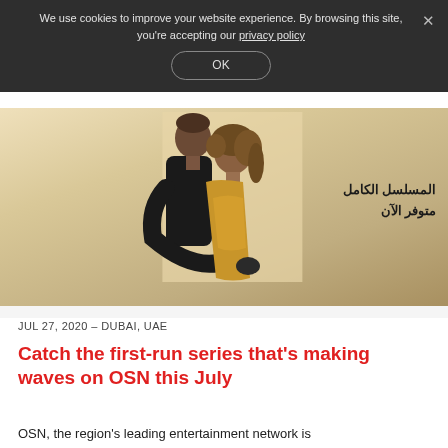We use cookies to improve your website experience. By browsing this site, you're accepting our privacy policy
OK
[Figure (photo): Promotional image for an Arabic TV series showing a couple embracing with Arabic text 'المسلسل الكامل متوفر الآن' (The complete series available now) overlaid on the right side of the image. Beige/tan background.]
JUL 27, 2020 – DUBAI, UAE
Catch the first-run series that's making waves on OSN this July
OSN, the region's leading entertainment network is